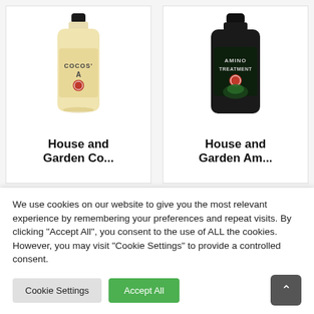[Figure (photo): Product card showing a yellow/cream labeled bottle of House and Garden Cocos A nutrient solution]
House and
[Figure (photo): Product card showing a black bottle of House and Garden Amino Treatment nutrient solution]
House and
We use cookies on our website to give you the most relevant experience by remembering your preferences and repeat visits. By clicking "Accept All", you consent to the use of ALL the cookies. However, you may visit "Cookie Settings" to provide a controlled consent.